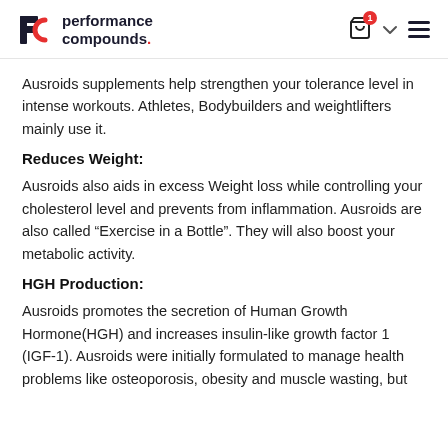performance compounds.
Ausroids supplements help strengthen your tolerance level in intense workouts. Athletes, Bodybuilders and weightlifters mainly use it.
Reduces Weight:
Ausroids also aids in excess Weight loss while controlling your cholesterol level and prevents from inflammation. Ausroids are also called “Exercise in a Bottle”. They will also boost your metabolic activity.
HGH Production:
Ausroids promotes the secretion of Human Growth Hormone(HGH) and increases insulin-like growth factor 1 (IGF-1). Ausroids were initially formulated to manage health problems like osteoporosis, obesity and muscle wasting, but